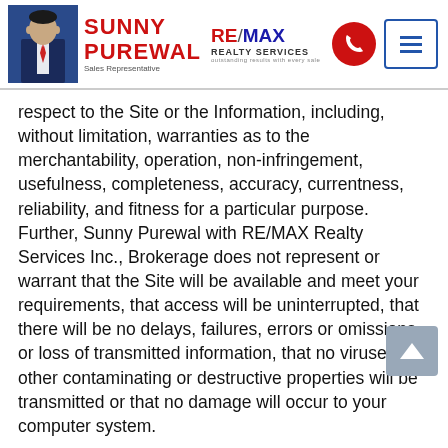Sunny Purewal | RE/MAX Realty Services | Sales Representative
respect to the Site or the Information, including, without limitation, warranties as to the merchantability, operation, non-infringement, usefulness, completeness, accuracy, currentness, reliability, and fitness for a particular purpose. Further, Sunny Purewal with RE/MAX Realty Services Inc., Brokerage does not represent or warrant that the Site will be available and meet your requirements, that access will be uninterrupted, that there will be no delays, failures, errors or omissions, or loss of transmitted information, that no viruses or other contaminating or destructive properties will be transmitted or that no damage will occur to your computer system.
Security
This Site is not a secure medium for communication